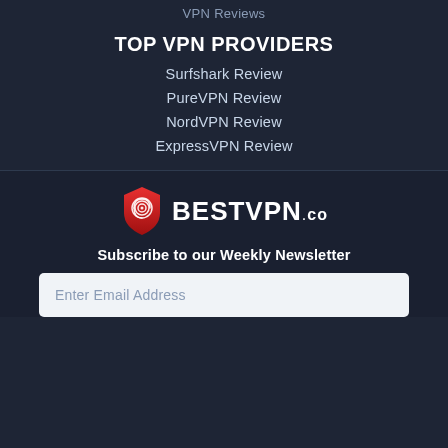VPN Reviews
TOP VPN PROVIDERS
Surfshark Review
PureVPN Review
NordVPN Review
ExpressVPN Review
[Figure (logo): BestVPN.co logo with red shield fingerprint icon and white text]
Subscribe to our Weekly Newsletter
Enter Email Address